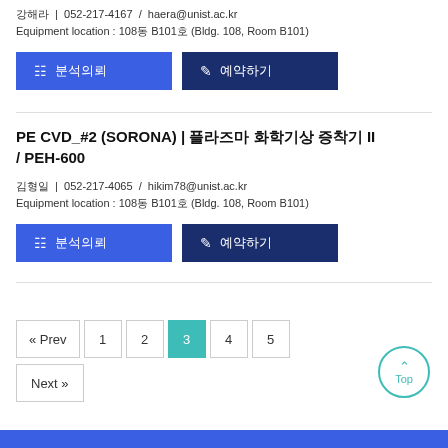강해라 | 052-217-4167 / haera@unist.ac.kr
Equipment location : 108동 B101호 (Bldg. 108, Room B101)
분석의뢰  예약하기
PE CVD_#2 (SORONA) | 플라즈마 화학기상 증착기 II / PEH-600
김형일 | 052-217-4065 / hikim78@unist.ac.kr
Equipment location : 108동 B101호 (Bldg. 108, Room B101)
분석의뢰  예약하기
« Prev  1  2  3  4  5
Next »